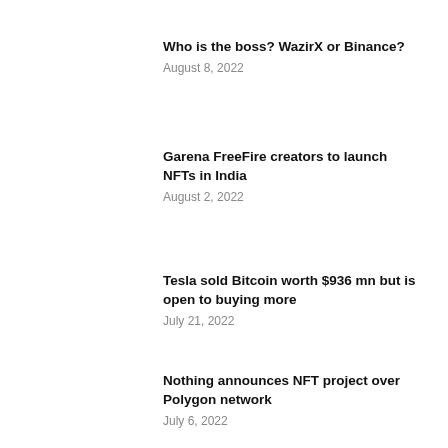Who is the boss? WazirX or Binance?
August 8, 2022
Garena FreeFire creators to launch NFTs in India
August 2, 2022
Tesla sold Bitcoin worth $936 mn but is open to buying more
July 21, 2022
Nothing announces NFT project over Polygon network
July 6, 2022